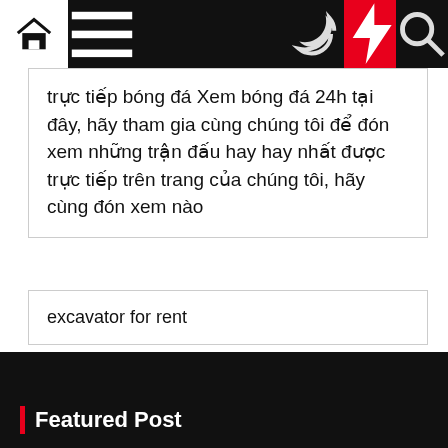Navigation bar with home, menu, moon, bolt, and search icons
trực tiếp bóng đá Xem bóng đá 24h tại đây, hãy tham gia cùng chúng tôi để đón xem những trận đấu hay hay nhất được trực tiếp trên trang của chúng tôi, hãy cùng đón xem nào
excavator for rent
| VISIT NOW
Law & Legal
Featured Post